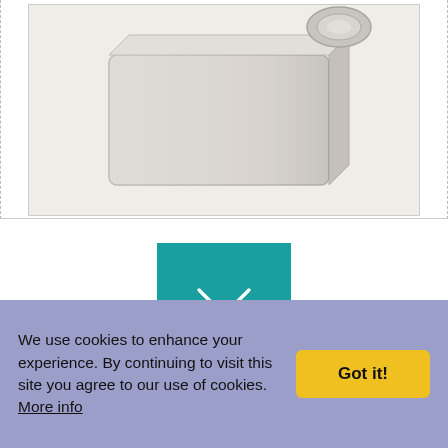[Figure (photo): Product photo of Vado Life Wall Outlet faucet, showing a modern chrome/brushed nickel rectangular wall-mounted outlet with circular top fitting, on a light beige background.]
[Figure (logo): Vado brand logo: white text 'VADO' on a teal/turquoise square background.]
Vado - Life Wall Outlet
Product Code: LIF-OUTLET-C/P
Colour: Chrome
W: 0mm D: 0mm H: 0mm
We use cookies to enhance your experience. By continuing to visit this site you agree to our use of cookies. More info